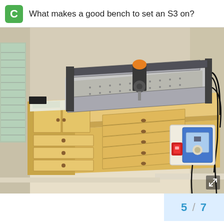What makes a good bench to set an S3 on?
[Figure (photo): A CNC router machine (Shapeoko S3) mounted on top of a light maple wood workbench with multiple drawers and cabinet doors. A white electrical enclosure box with a blue door and red switch is mounted on the side of the bench. Black cables run from the machine and enclosure. The bench is in a room with beige walls and light floor.]
5 / 7